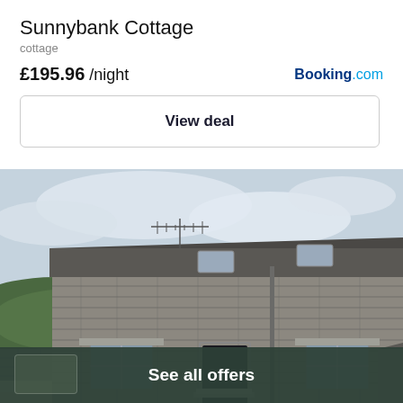Sunnybank Cottage
cottage
£195.96 /night
Booking.com
View deal
[Figure (photo): Exterior photo of Sunnybank Cottage, a stone barn conversion with slate roof, skylight windows, TV antenna on roof, two windows at ground level, open doorway, gravel driveway, green hillside in background, cloudy sky.]
See all offers